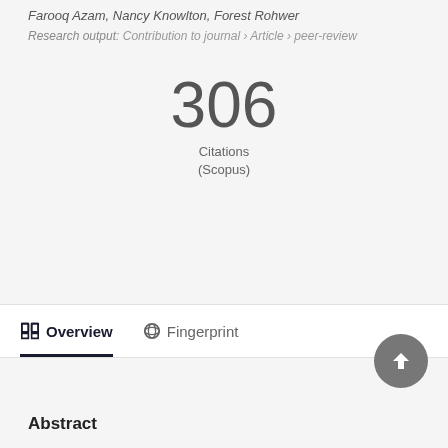Farooq Azam, Nancy Knowlton, Forest Rohwer
Research output: Contribution to journal › Article › peer-review
306 Citations (Scopus)
Overview   Fingerprint
Abstract